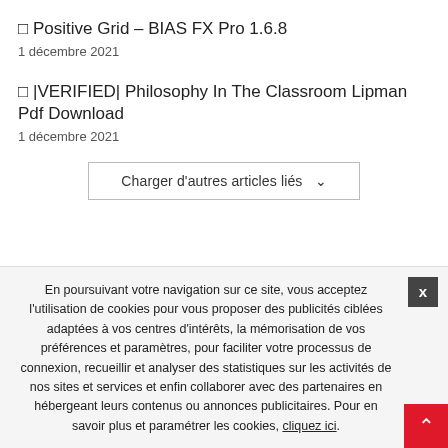🔲 Positive Grid – BIAS FX Pro 1.6.8
1 décembre 2021
🔲 |VERIFIED| Philosophy In The Classroom Lipman Pdf Download
1 décembre 2021
Charger d'autres articles liés ∨
LAISSER UN COMMENTAIRE
En poursuivant votre navigation sur ce site, vous acceptez l'utilisation de cookies pour vous proposer des publicités ciblées adaptées à vos centres d'intérêts, la mémorisation de vos préférences et paramètres, pour faciliter votre processus de connexion, recueillir et analyser des statistiques sur les activités de nos sites et services et enfin collaborer avec des partenaires en hébergeant leurs contenus ou annonces publicitaires. Pour en savoir plus et paramétrer les cookies, cliquez ici.